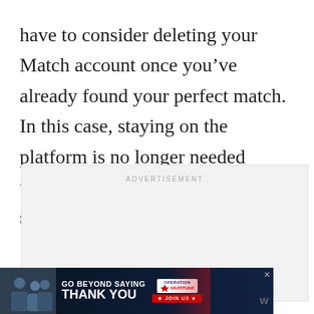have to consider deleting your Match account once you’ve already found your perfect match. In this case, staying on the platform is no longer needed unless you’re anticipating an early split.
[Figure (other): Advertisement placeholder box with light gray background and the word ADVERTISEMENT centered at top in small gray spaced uppercase letters]
[Figure (other): Banner advertisement at page bottom: dark navy background with photo of people on left, bold white text reading GO BEYOND SAYING THANK YOU, Operation Gratitude logo with star and JOIN US button in red, close X button top right]